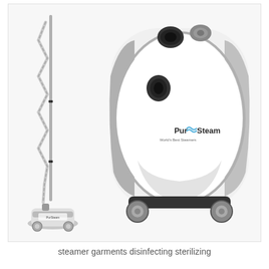[Figure (photo): Product photo showing a PurSteam garment steamer. On the left side is a full standing garment steamer with a long pole, hose, and steamer head at the bottom. On the right is a close-up of the main steamer unit body — white and silver/gray in color with the PurSteam logo on the front panel, steam nozzle ports at the top, and wheels at the bottom.]
steamer garments disinfecting sterilizing